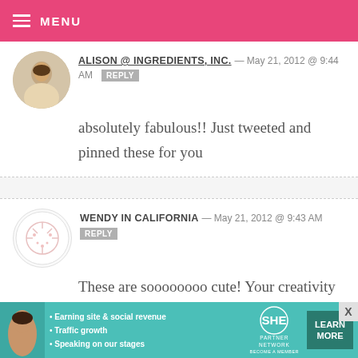MENU
ALISON @ INGREDIENTS, INC. — MAY 21, 2012 @ 9:44 AM REPLY
absolutely fabulous!! Just tweeted and pinned these for you
WENDY IN CALIFORNIA — MAY 21, 2012 @ 9:43 AM REPLY
These are soooooooo cute! Your creativity never ceases to amaze! Its a terrific idea, that will be fun to try – THANKS
[Figure (infographic): SHE Partner Network advertisement banner with teal background, showing a woman photo, bullet points about earning site & social revenue, traffic growth, speaking on our stages, SHE logo, and a LEARN MORE button]